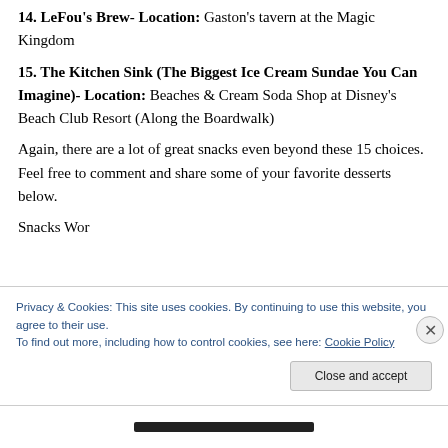14. LeFou's Brew- Location: Gaston's tavern at the Magic Kingdom
15. The Kitchen Sink (The Biggest Ice Cream Sundae You Can Imagine)- Location: Beaches & Cream Soda Shop at Disney's Beach Club Resort (Along the Boardwalk)
Again, there are a lot of great snacks even beyond these 15 choices. Feel free to comment and share some of your favorite desserts below.
Privacy & Cookies: This site uses cookies. By continuing to use this website, you agree to their use.
To find out more, including how to control cookies, see here: Cookie Policy
Close and accept